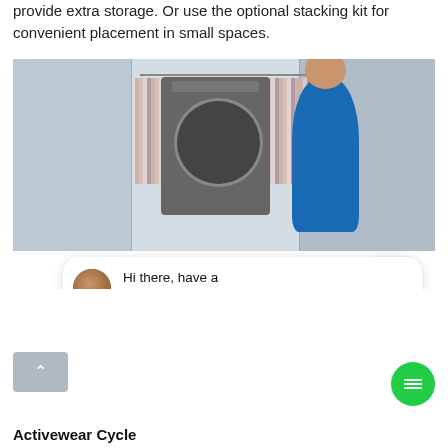provide extra storage. Or use the optional stacking kit for convenient placement in small spaces.
[Figure (screenshot): Screenshot showing a laundry room with a woman standing next to a front-load dryer. A chat bubble overlay reads 'Hi there, have a question? Text us here.' with a 'close' button and a green chat FAB icon.]
Activewear Cycle